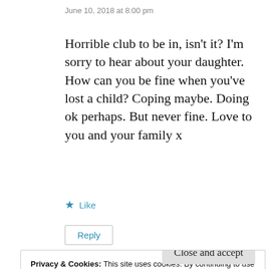June 10, 2018 at 8:00 pm
Horrible club to be in, isn't it? I'm sorry to hear about your daughter. How can you be fine when you've lost a child? Coping maybe. Doing ok perhaps. But never fine. Love to you and your family x
★ Like
Reply
Privacy & Cookies: This site uses cookies. By continuing to use this website, you agree to their use.
To find out more, including how to control cookies, see here:
Cookie Policy
Close and accept